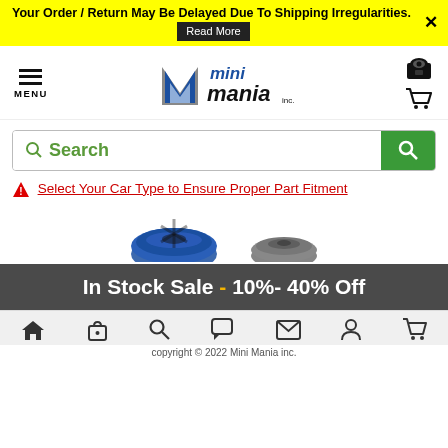Your Order / Return May Be Delayed Due To Shipping Irregularities. Read More ×
[Figure (logo): Mini Mania inc. logo with stylized M and text]
Search
⚠ Select Your Car Type to Ensure Proper Part Fitment
[Figure (photo): Two circular car parts (wheel/clutch components), one blue and one grey]
In Stock Sale - 10%- 40% Off
copyright © 2022 Mini Mania inc.